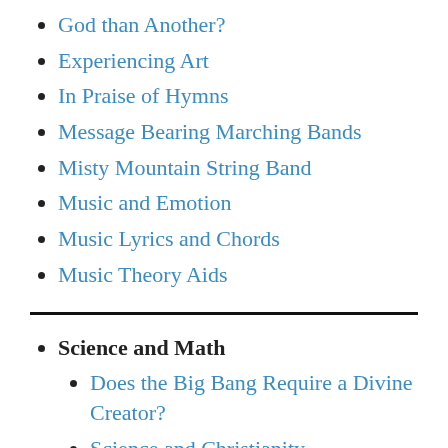God than Another?
Experiencing Art
In Praise of Hymns
Message Bearing Marching Bands
Misty Mountain String Band
Music and Emotion
Music Lyrics and Chords
Music Theory Aids
Science and Math
Does the Big Bang Require a Divine Creator?
Science and Christianity
The Mystery of Solar Totality